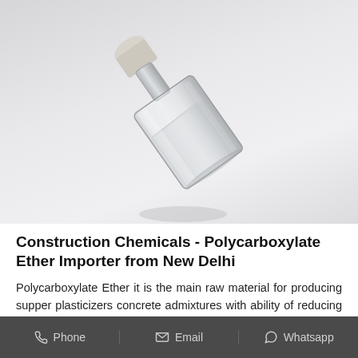[Figure (photo): A glass reagent bottle tilted at an angle, partially filled with a clear liquid, photographed against a light gray/white background.]
Construction Chemicals - Polycarboxylate Ether Importer from New Delhi
Polycarboxylate Ether it is the main raw material for producing supper plasticizers concrete admixtures with ability of reducing water and good slump retention of the new
Phone   Email   Whatsapp